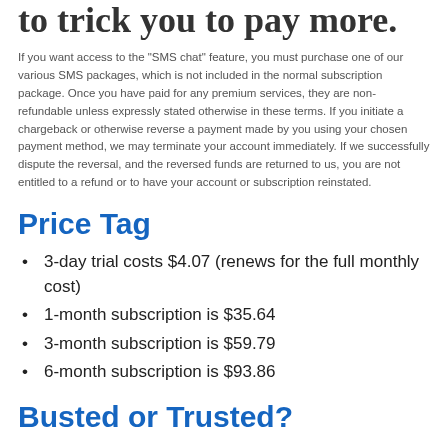to trick you to pay more.
If you want access to the "SMS chat" feature, you must purchase one of our various SMS packages, which is not included in the normal subscription package. Once you have paid for any premium services, they are non-refundable unless expressly stated otherwise in these terms. If you initiate a chargeback or otherwise reverse a payment made by you using your chosen payment method, we may terminate your account immediately. If we successfully dispute the reversal, and the reversed funds are returned to us, you are not entitled to a refund or to have your account or subscription reinstated.
Price Tag
3-day trial costs $4.07 (renews for the full monthly cost)
1-month subscription is $35.64
3-month subscription is $59.79
6-month subscription is $93.86
Busted or Trusted?